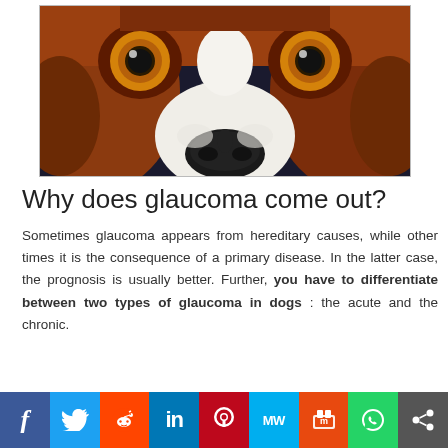[Figure (photo): Close-up photo of a beagle dog's face looking up at the camera, showing large orange-amber eyes and white snout against dark background]
Why does glaucoma come out?
Sometimes glaucoma appears from hereditary causes, while other times it is the consequence of a primary disease. In the latter case, the prognosis is usually better. Further, you have to differentiate between two types of glaucoma in dogs : the acute and the chronic.
[Figure (infographic): Social media sharing bar with icons for Facebook, Twitter, Reddit, LinkedIn, Pinterest, MeWe, Mix, WhatsApp, and Share]